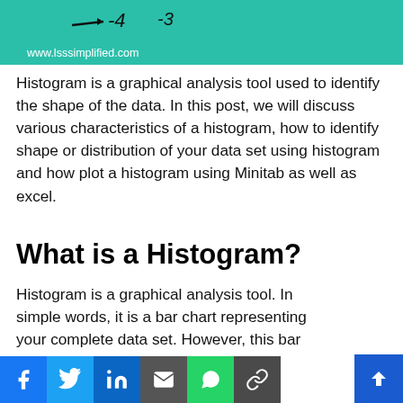[Figure (other): Teal/green header image with handwritten-style numbers (-4, -3) and URL www.lsssimplified.com]
Histogram is a graphical analysis tool used to identify the shape of the data. In this post, we will discuss various characteristics of a histogram, how to identify shape or distribution of your data set using histogram and how plot a histogram using Minitab as well as excel.
What is a Histogram?
Histogram is a graphical analysis tool. In simple words, it is a bar chart representing your complete data set. However, this bar chart does not plot individual data values of the data set. It rather plots the frequency or number of times the same data value...